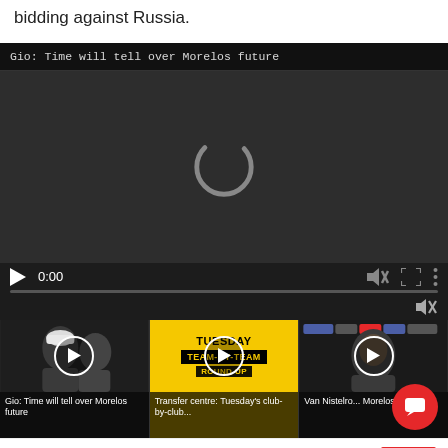bidding against Russia.
[Figure (screenshot): Video player showing 'Gio: Time will tell over Morelos future' with loading spinner, play controls showing 0:00, progress bar, and volume controls]
[Figure (screenshot): Three thumbnail links: 'Gio: Time will tell over Morelos future', 'Transfer centre: Tuesday's club-by-club...', 'Van Nistelrooy on Morelos: Gio...' with Sky Sports logo]
sky sports